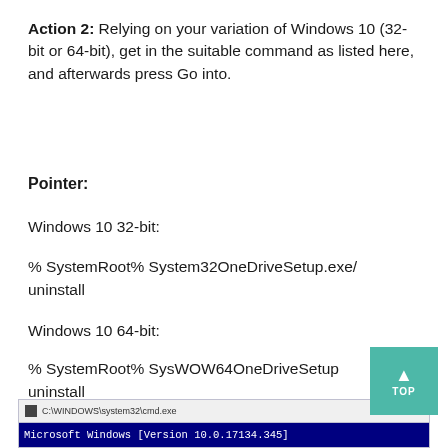Action 2: Relying on your variation of Windows 10 (32-bit or 64-bit), get in the suitable command as listed here, and afterwards press Go into.
Pointer:
Windows 10 32-bit:
% SystemRoot% System32OneDriveSetup.exe/ uninstall
Windows 10 64-bit:
% SystemRoot% SysWOW64OneDriveSetup uninstall
[Figure (screenshot): Command Prompt window showing title bar 'C:\WINDOWS\system32\cmd.exe' and first line of output 'Microsoft Windows [Version 10.0.17134.345]']